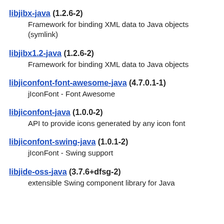libjibx-java (1.2.6-2)
Framework for binding XML data to Java objects (symlink)
libjibx1.2-java (1.2.6-2)
Framework for binding XML data to Java objects
libjiconfont-font-awesome-java (4.7.0.1-1)
jIconFont - Font Awesome
libjiconfont-java (1.0.0-2)
API to provide icons generated by any icon font
libjiconfont-swing-java (1.0.1-2)
jIconFont - Swing support
libjide-oss-java (3.7.6+dfsg-2)
extensible Swing component library for Java